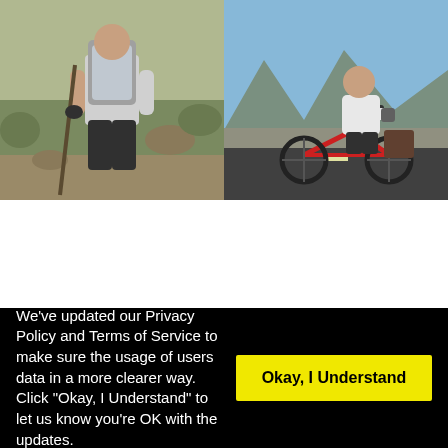[Figure (photo): Two side-by-side photos. Left: person with backpack and hiking stick in desert/shrub landscape. Right: person sitting on a bicycle on a road with mountains in background.]
We've updated our Privacy Policy and Terms of Service to make sure the usage of users data in a more clearer way. Click "Okay, I Understand" to let us know you're OK with the updates.